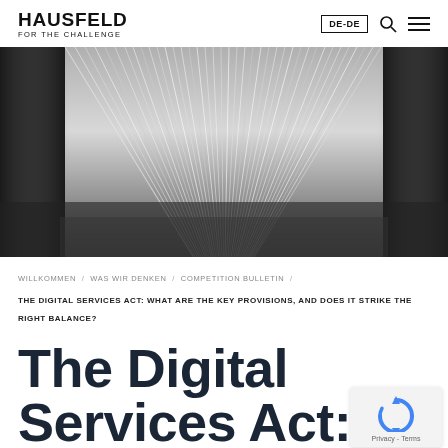HAUSFELD FOR THE CHALLENGE
[Figure (photo): Close-up black and white photo of fanned book pages viewed from the spine, showing many thin white pages fanning out against dark covers]
WILLKOMMEN / WAS WIR DENKEN / COMPETITION BULLETIN /
THE DIGITAL SERVICES ACT: WHAT ARE THE KEY PROVISIONS, AND DOES IT STRIKE THE RIGHT BALANCE?
The Digital Services Act: